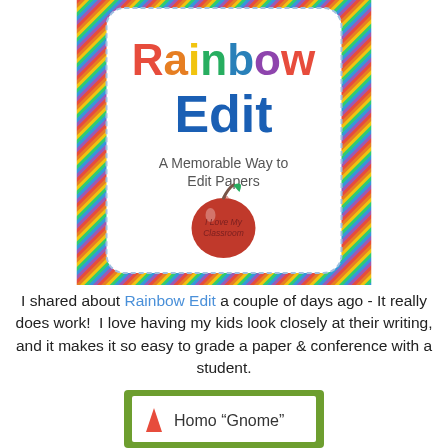[Figure (illustration): Rainbow Edit book cover with colorful crayon border, rainbow-colored title text 'Rainbow Edit', subtitle 'A Memorable Way to Edit Papers', and an apple graphic with text 'I Love My Classroom']
I shared about Rainbow Edit a couple of days ago - It really does work!  I love having my kids look closely at their writing, and it makes it so easy to grade a paper & conference with a student.
[Figure (illustration): Card with green border showing a red triangle icon and text 'Homo "Gnome"']